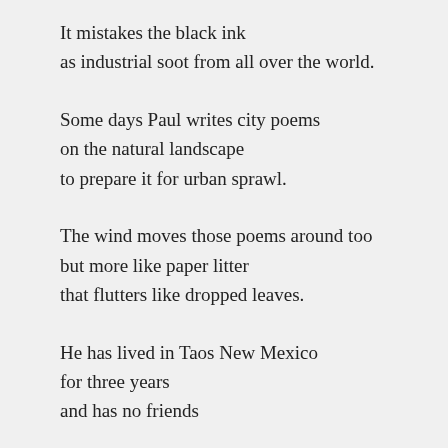It mistakes the black ink
as industrial soot from all over the world.
Some days Paul writes city poems
on the natural landscape
to prepare it for urban sprawl.
The wind moves those poems around too
but more like paper litter
that flutters like dropped leaves.
He has lived in Taos New Mexico
for three years
and has no friends
from the Taos Pueblo
the local Guests him on community